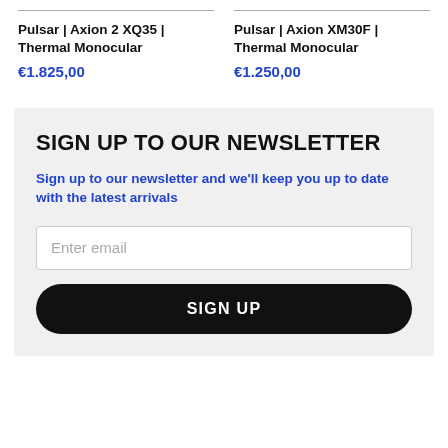Pulsar | Axion 2 XQ35 | Thermal Monocular
€1.825,00
Pulsar | Axion XM30F | Thermal Monocular
€1.250,00
SIGN UP TO OUR NEWSLETTER
Sign up to our newsletter and we'll keep you up to date with the latest arrivals
Enter email
SIGN UP